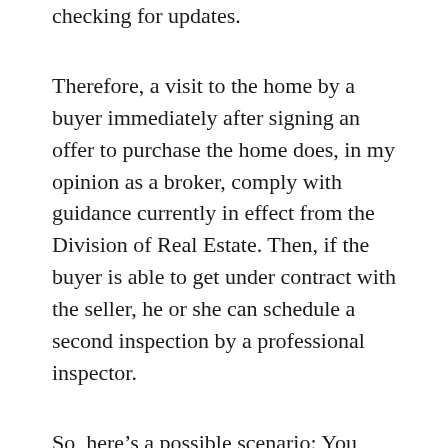checking for updates.
Therefore, a visit to the home by a buyer immediately after signing an offer to purchase the home does, in my opinion as a broker, comply with guidance currently in effect from the Division of Real Estate. Then, if the buyer is able to get under contract with the seller, he or she can schedule a second inspection by a professional inspector.
So, here’s a possible scenario: You look at the video tour of the patio home or the ranch-style luxury which you found at www.GRElistings.com. I guarantee you’ll have a pretty good sense of the home from viewing that video. You’ll experience the flow from